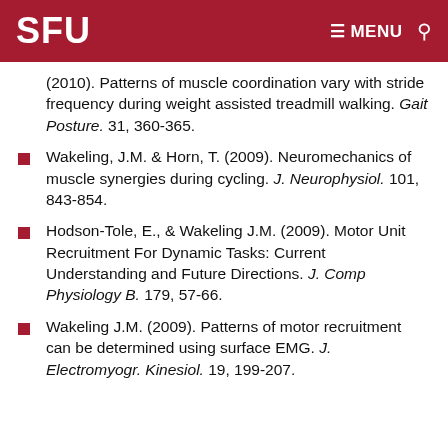SFU  ≡ MENU 🔍
(2010). Patterns of muscle coordination vary with stride frequency during weight assisted treadmill walking. Gait Posture. 31, 360-365.
Wakeling, J.M. & Horn, T. (2009). Neuromechanics of muscle synergies during cycling. J. Neurophysiol. 101, 843-854.
Hodson-Tole, E., & Wakeling J.M. (2009). Motor Unit Recruitment For Dynamic Tasks: Current Understanding and Future Directions. J. Comp Physiology B. 179, 57-66.
Wakeling J.M. (2009). Patterns of motor recruitment can be determined using surface EMG. J. Electromyogr. Kinesiol. 19, 199-207.